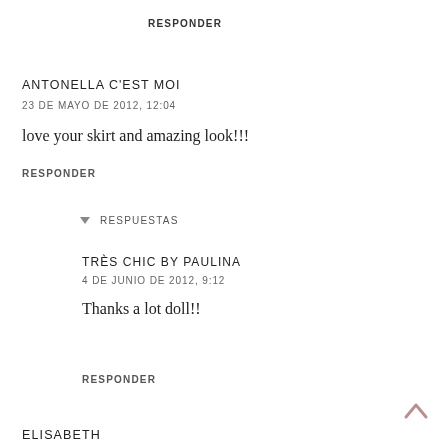RESPONDER
ANTONELLA C'EST MOI
23 DE MAYO DE 2012, 12:04
love your skirt and amazing look!!!
RESPONDER
▾ RESPUESTAS
TRÈS CHIC BY PAULINA
4 DE JUNIO DE 2012, 9:12
Thanks a lot doll!!
RESPONDER
ELISABETH